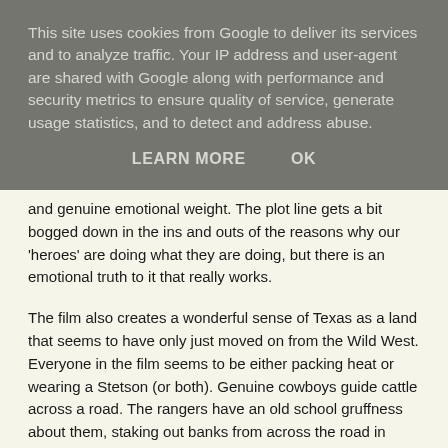This site uses cookies from Google to deliver its services and to analyze traffic. Your IP address and user-agent are shared with Google along with performance and security metrics to ensure quality of service, generate usage statistics, and to detect and address abuse.
LEARN MORE    OK
and genuine emotional weight. The plot line gets a bit bogged down in the ins and outs of the reasons why our 'heroes' are doing what they are doing, but there is an emotional truth to it that really works.
The film also creates a wonderful sense of Texas as a land that seems to have only just moved on from the Wild West. Everyone in the film seems to be either packing heat or wearing a Stetson (or both). Genuine cowboys guide cattle across a road. The rangers have an old school gruffness about them, staking out banks from across the road in saloon bars that don't seem to have moved on from the days of Wyatt Earp. At the slightest sign of danger, ordinary people reach for their guns and start shooting. Everything takes place in dusty countries, or rural feeling towns. I can barely remember seeing a computer or mobile phone. The whole film feels slightly out of step with the modern world.